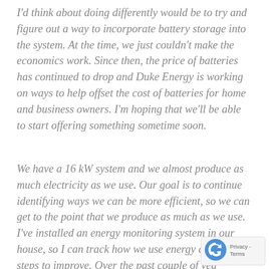I'd think about doing differently would be to try and figure out a way to incorporate battery storage into the system.  At the time, we just couldn't make the economics work.  Since then, the price of batteries has continued to drop and Duke Energy is working on ways to help offset the cost of batteries for home and business owners.  I'm hoping that we'll be able to start offering something sometime soon.
We have a 16 kW system and we almost produce as much electricity as we use.  Our goal is to continue identifying ways we can be more efficient, so we can get to the point that we produce as much as we use.  I've installed an energy monitoring system in our house, so I can track how we use energy and take steps to improve.  Over the past couple of years, we've reduced our overall electricity use by around